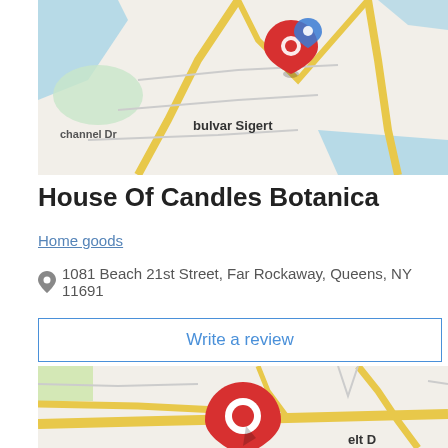[Figure (map): Google Maps view showing a location pin in Far Rockaway area with water bodies, roads including Channel Dr and Bulvar Sigert]
House Of Candles Botanica
Home goods
1081 Beach 21st Street, Far Rockaway, Queens, NY 11691
Write a review
[Figure (map): Second Google Maps view showing a red location pin marker in the Far Rockaway Queens area with roads and partial text 'elt D']